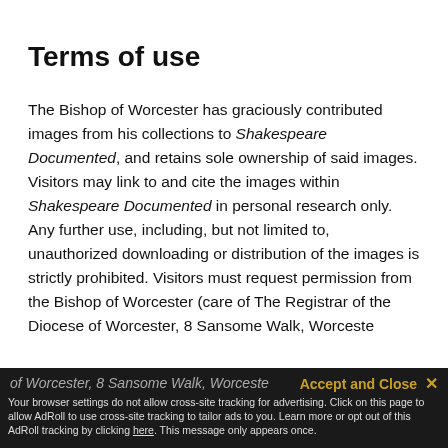Terms of use
The Bishop of Worcester has graciously contributed images from his collections to Shakespeare Documented, and retains sole ownership of said images. Visitors may link to and cite the images within Shakespeare Documented in personal research only. Any further use, including, but not limited to, unauthorized downloading or distribution of the images is strictly prohibited. Visitors must request permission from the Bishop of Worcester (care of The Registrar of the Diocese of Worcester, 8 Sansome Walk, Worceste…
Accept and Close ✕ Your browser settings do not allow cross-site tracking for advertising. Click on this page to allow AdRoll to use cross-site tracking to tailor ads to you. Learn more or opt out of this AdRoll tracking by clicking here. This message only appears once.